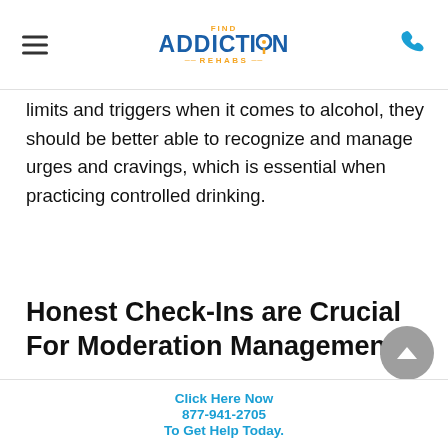FIND ADDICTION REHABS (logo) | hamburger menu | phone icon
limits and triggers when it comes to alcohol, they should be better able to recognize and manage urges and cravings, which is essential when practicing controlled drinking.
Honest Check-Ins are Crucial For Moderation Management
It is possible (and completely human) for individuals who have recently completed a moderation management program to slip back in to
Click Here Now
877-941-2705
To Get Help Today.